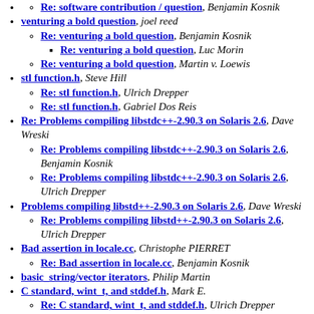Re: software contribution / question, Benjamin Kosnik
venturing a bold question, joel reed
Re: venturing a bold question, Benjamin Kosnik
Re: venturing a bold question, Luc Morin
Re: venturing a bold question, Martin v. Loewis
stl function.h, Steve Hill
Re: stl function.h, Ulrich Drepper
Re: stl function.h, Gabriel Dos Reis
Re: Problems compiling libstdc++-2.90.3 on Solaris 2.6, Dave Wreski
Re: Problems compiling libstdc++-2.90.3 on Solaris 2.6, Benjamin Kosnik
Re: Problems compiling libstdc++-2.90.3 on Solaris 2.6, Ulrich Drepper
Problems compiling libstd++-2.90.3 on Solaris 2.6, Dave Wreski
Re: Problems compiling libstd++-2.90.3 on Solaris 2.6, Ulrich Drepper
Bad assertion in locale.cc, Christophe PIERRET
Re: Bad assertion in locale.cc, Benjamin Kosnik
basic_string/vector iterators, Philip Martin
C standard, wint_t, and stddef.h, Mark E.
Re: C standard, wint_t, and stddef.h, Ulrich Drepper
Re: C standard, wint_t, and stddef.h, Mark E.